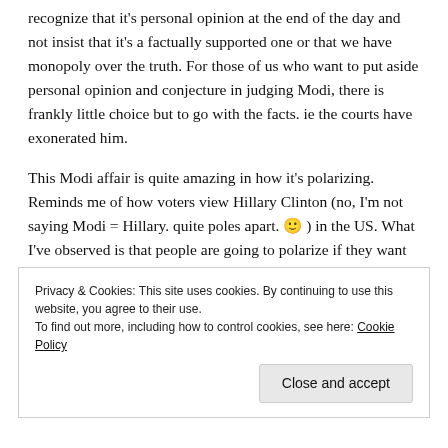recognize that it's personal opinion at the end of the day and not insist that it's a factually supported one or that we have monopoly over the truth. For those of us who want to put aside personal opinion and conjecture in judging Modi, there is frankly little choice but to go with the facts. ie the courts have exonerated him.
This Modi affair is quite amazing in how it's polarizing. Reminds me of how voters view Hillary Clinton (no, I'm not saying Modi = Hillary. quite poles apart. 🙂 ) in the US. What I've observed is that people are going to polarize if they want to polarize. They're going to find emotional/irrational reasons to do so. GWB was a polarizing figure and he divided America. Obama (who I thought
Privacy & Cookies: This site uses cookies. By continuing to use this website, you agree to their use.
To find out more, including how to control cookies, see here: Cookie Policy